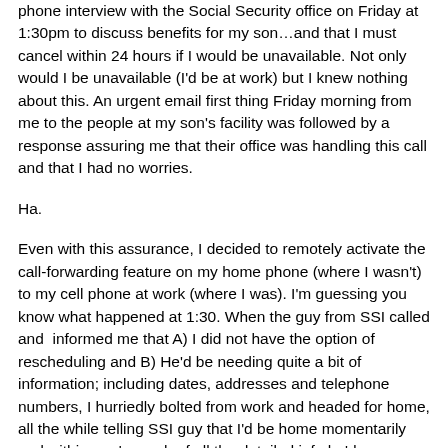phone interview with the Social Security office on Friday at 1:30pm to discuss benefits for my son…and that I must cancel within 24 hours if I would be unavailable. Not only would I be unavailable (I'd be at work) but I knew nothing about this. An urgent email first thing Friday morning from me to the people at my son's facility was followed by a response assuring me that their office was handling this call and that I had no worries.
Ha.
Even with this assurance, I decided to remotely activate the call-forwarding feature on my home phone (where I wasn't) to my cell phone at work (where I was). I'm guessing you know what happened at 1:30. When the guy from SSI called and informed me that A) I did not have the option of rescheduling and B) He'd be needing quite a bit of information; including dates, addresses and telephone numbers, I hurriedly bolted from work and headed for home, all the while telling SSI guy that I'd be home momentarily and within arm's reach of all the detailed info he'd requested.